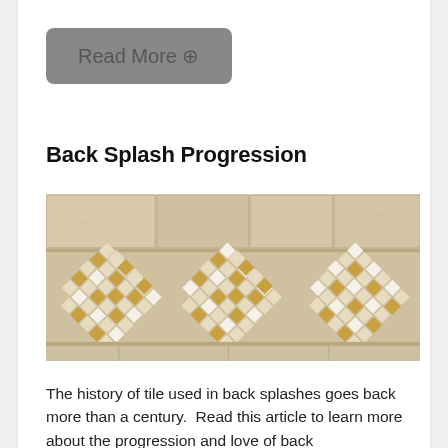Read More ⊕
Back Splash Progression
[Figure (photo): Decorative ceramic tile backsplash with three diamond-shaped mosaic patterns featuring beige, white, and gold/amber colored tiles arranged in a checkerboard pattern, set against a larger beige stone tile background.]
The history of tile used in back splashes goes back more than a century.  Read this article to learn more about the progression and love of back